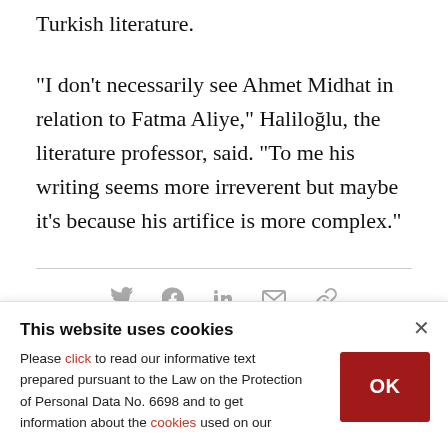...Aliye is one of the first literary biographies in Turkish literature.
"I don't necessarily see Ahmet Midhat in relation to Fatma Aliye," Haliloğlu, the literature professor, said. "To me his writing seems more irreverent but maybe it's because his artifice is more complex."
[Figure (other): Social media sharing icons: Twitter, Facebook, LinkedIn, Email, Link]
This website uses cookies
Please click to read our informative text prepared pursuant to the Law on the Protection of Personal Data No. 6698 and to get information about the cookies used on our